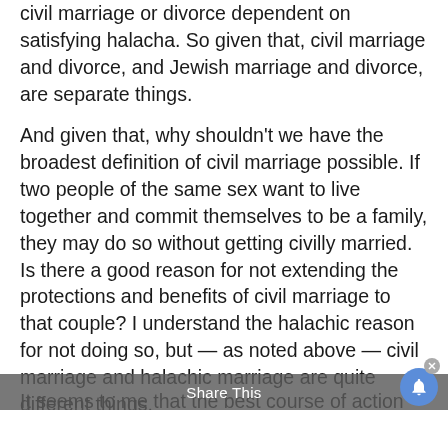civil marriage or divorce dependent on satisfying halacha. So given that, civil marriage and divorce, and Jewish marriage and divorce, are separate things.
And given that, why shouldn't we have the broadest definition of civil marriage possible. If two people of the same sex want to live together and commit themselves to be a family, they may do so without getting civilly married. Is there a good reason for not extending the protections and benefits of civil marriage to that couple? I understand the halachic reason for not doing so, but — as noted above — civil marriage and halachic marriage are quite different things.
It seems to me that the best course of action for traditional [Share This] ould be to use the